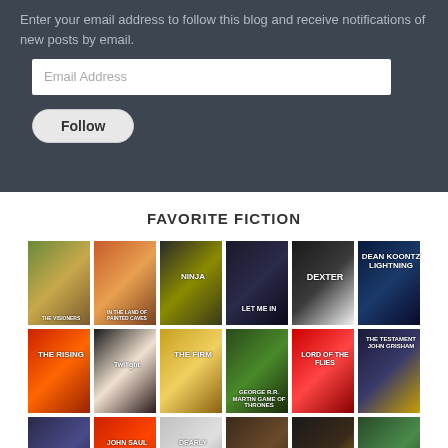Enter your email address to follow this blog and receive notifications of new posts by email.
[Figure (screenshot): Email Address input field (text input box)]
[Figure (screenshot): Follow button (rounded rectangle button)]
FAVORITE FICTION
[Figure (illustration): Grid of book covers for favorite fiction titles including: The Visioners, In the Land of Painted Caves, Ninja, Let Me In, Dexter, Lightning, The Rising, Twilight, The Firm, Game of Thrones, Lord of the Flies, The Testament, and partial third row including John Saul and others.]